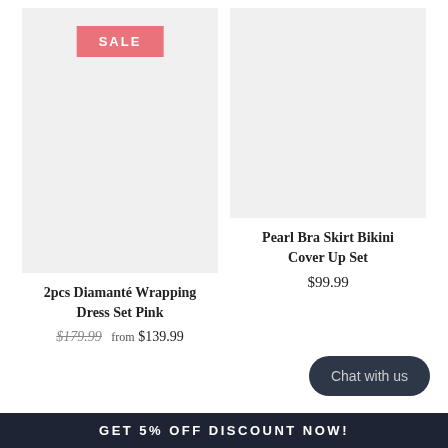[Figure (photo): Product image placeholder for 2pcs Diamanté Wrapping Dress Set Pink with SALE badge, light gray background]
[Figure (photo): Product image placeholder for Pearl Bra Skirt Bikini Cover Up Set, light gray background]
2pcs Diamanté Wrapping Dress Set Pink
$179.99  from $139.99
Pearl Bra Skirt Bikini Cover Up Set
$99.99
Chat with us
GET 5% OFF DISCOUNT NOW!